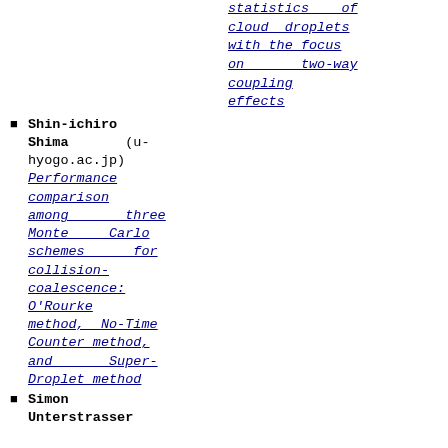statistics of cloud droplets with the focus on two-way coupling effects
Shin-ichiro Shima (u-hyogo.ac.jp) Performance comparison among three Monte Carlo schemes for collision-coalescence: O'Rourke method, No-Time Counter method, and Super-Droplet method
Simon Unterstrasser